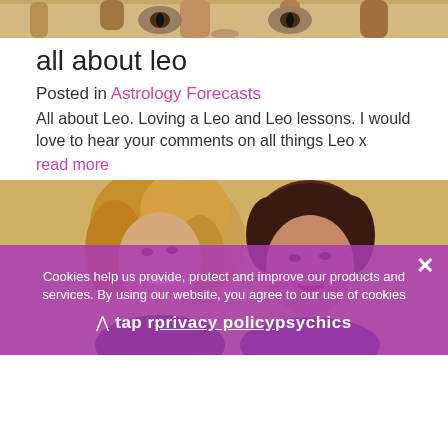[Figure (photo): Partial top view of a cat's face (eyes and forehead visible) cropped at the top of the page]
all about leo
Posted in Astrology Forecasts
All about Leo. Loving a Leo and Leo lessons. I would love to hear your comments on all things Leo x
read more
[Figure (photo): Two women posing together indoors, one with curly blonde hair and one with dark short hair]
Cookies help us provide, protect and improve our products and services. By using our website, you agree to our use of cookies
tap for privacy policy psychics